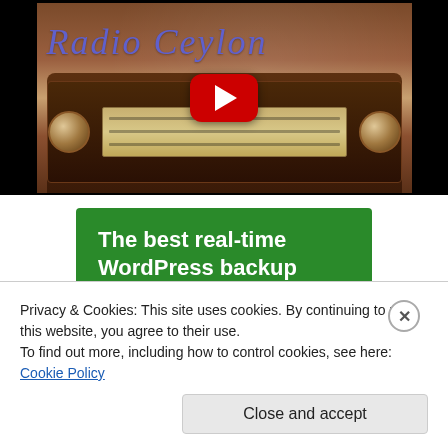[Figure (screenshot): A YouTube video thumbnail showing a vintage radio set with 'Radio Ceylon' text displayed in blue italic serif font over a decorative brown background. A red YouTube play button is overlaid in the center.]
[Figure (screenshot): A green advertisement banner with white bold text reading 'The best real-time WordPress backup plugin']
Privacy & Cookies: This site uses cookies. By continuing to use this website, you agree to their use.
To find out more, including how to control cookies, see here: Cookie Policy
Close and accept